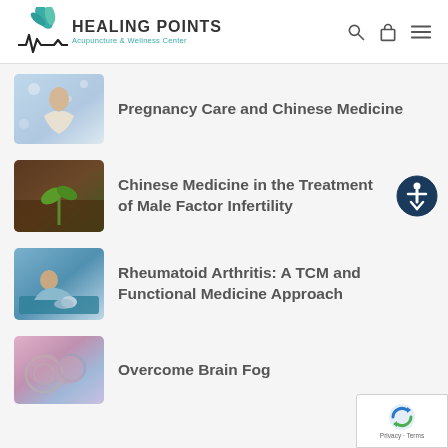HEALING POINTS Acupuncture & Wellness Center
Pregnancy Care and Chinese Medicine
Chinese Medicine in the Treatment of Male Factor Infertility
Rheumatoid Arthritis: A TCM and Functional Medicine Approach
Overcome Brain Fog